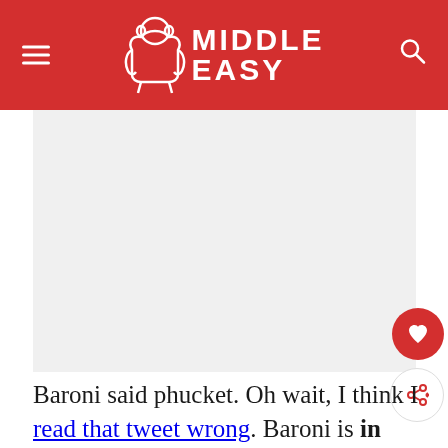MIDDLE EASY
[Figure (other): Large image placeholder area with light gray background, content not visible]
Baroni said phucket. Oh wait, I think I read that tweet wrong. Baroni is in Phucket, Thailand in an attempt to get his game back on track. Actually,